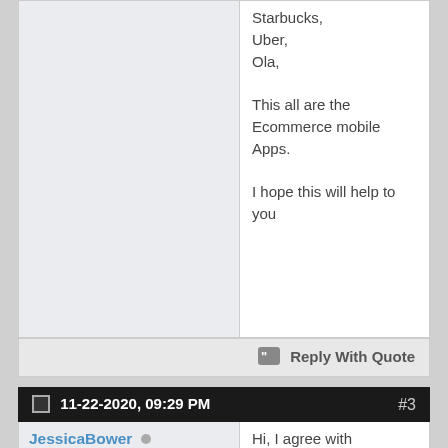Starbucks,
Uber,
Ola,

This all are the Ecommerce mobile Apps.

I hope this will help to you
Reply With Quote
11-22-2020, 09:29 PM   #3
JessicaBower
Registered User
Join Date: Jul 2020
Posts: 7
Hi, I agree with shan_shan, this is the best E commerce Mobile App. I also want to add some apps to this list, such as: Sephora, Walmart, Shopify, Lensart, H&M. As a mobile app developer, I still use google play,the app store, apksalad.com/en and they are very